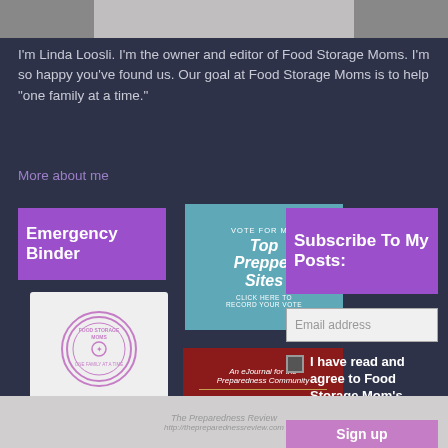[Figure (photo): Partial photo of a person at the top of the page, cropped]
I'm Linda Loosli. I'm the owner and editor of Food Storage Moms. I'm so happy you've found us. Our goal at Food Storage Moms is to help "one family at a time."
More about me
[Figure (illustration): Emergency Binder purple button label]
[Figure (illustration): Vote For Me - Top Prepper Sites badge with cartoon woman illustration]
[Figure (illustration): Subscribe To My Posts purple button]
[Figure (illustration): Emergency Binder book cover with Food Storage Moms circular logo]
Email address
[Figure (illustration): The Preparedness Review (TPR) eJournal logo on dark red background]
I have read and agree to Food Storage Mom's privacy policy
[Figure (illustration): The Preparedness Review watermark text at bottom]
Sign up